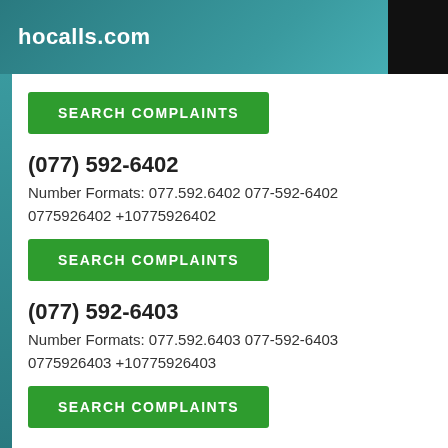hocalls.com
SEARCH COMPLAINTS
(077) 592-6402
Number Formats: 077.592.6402 077-592-6402 0775926402 +10775926402
SEARCH COMPLAINTS
(077) 592-6403
Number Formats: 077.592.6403 077-592-6403 0775926403 +10775926403
SEARCH COMPLAINTS
(077) 592-6404
Number Formats: 077.592.6404 077-592-6404 0775926404 +10775926404
SEARCH COMPLAINTS